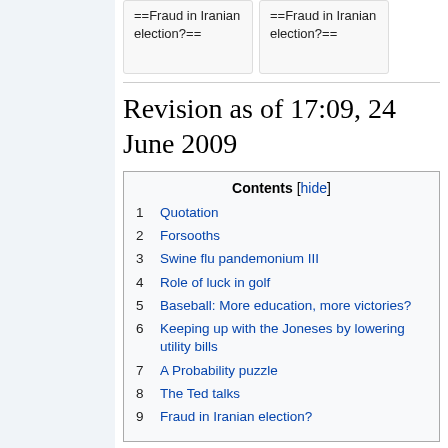==Fraud in Iranian election?==
==Fraud in Iranian election?==
Revision as of 17:09, 24 June 2009
1 Quotation
2 Forsooths
3 Swine flu pandemonium III
4 Role of luck in golf
5 Baseball: More education, more victories?
6 Keeping up with the Joneses by lowering utility bills
7 A Probability puzzle
8 The Ted talks
9 Fraud in Iranian election?